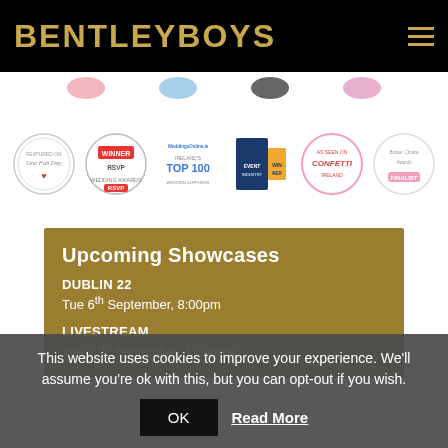BENTLEYBOYS
[Figure (logo): Award badges strip: Featured on One Fab Day, RSVP Winner, WeddingsOnline.ie Ireland's Top 100, Event Industry Awards Winner, As Seen on Confetti, Brides Choice Awards Finalist]
Upcoming Showcases
DUBLIN 22
Tue 6th September, 8:00pm
LIVESTREAM
Tue 27th September, 12:00am
This website uses cookies to improve your experience. We'll assume you're ok with this, but you can opt-out if you wish.
OK  Read More